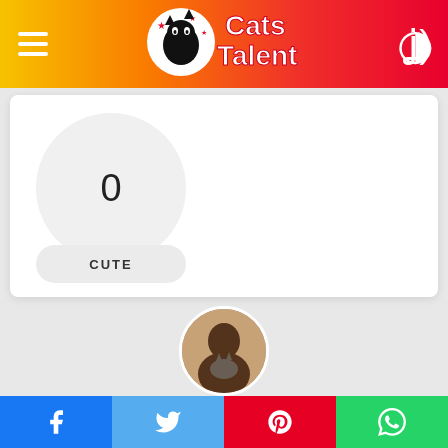[Figure (logo): Cats Talent logo with cat silhouette and star decorations on gradient orange-red header bar]
[Figure (infographic): White card with large grey circle showing number 0 and a rounded grey CUTE button below]
[Figure (photo): Circular avatar photo of Sophie Grey holding a cat]
Written by Sophie Grey
I've loved cats ever since I was a young girl, and love to
[Figure (infographic): Social media share bar with Facebook, Twitter, Pinterest, and WhatsApp buttons]